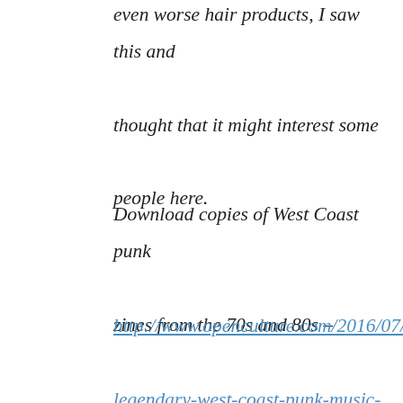even worse hair products, I saw this and thought that it might interest some people here.
Download copies of West Coast punk zines from the 70s and 80s –
http://www.openculture.com/2016/07/legendary-west-coast-punk-music-zines.html
Of course it goes without saying that not only was America the birthplace of punk but the music was far better than it's UK